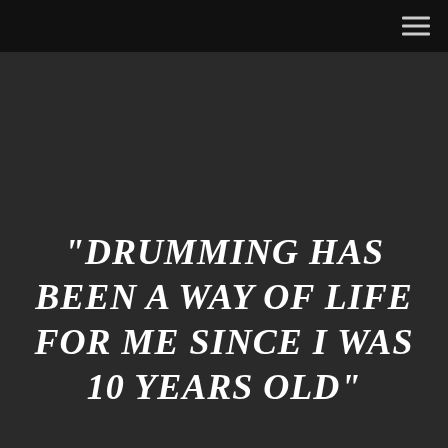"Drumming has been a way of life for me since I was 10 years old"